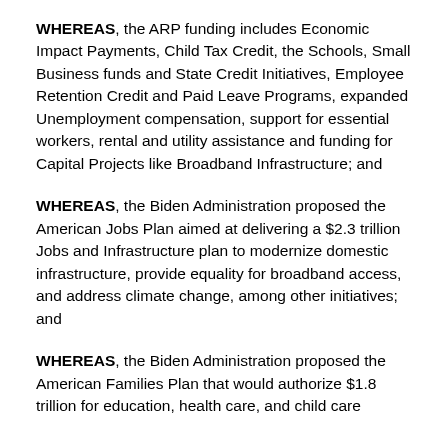WHEREAS, the ARP funding includes Economic Impact Payments, Child Tax Credit, the Schools, Small Business funds and State Credit Initiatives, Employee Retention Credit and Paid Leave Programs, expanded Unemployment compensation, support for essential workers, rental and utility assistance and funding for Capital Projects like Broadband Infrastructure; and
WHEREAS, the Biden Administration proposed the American Jobs Plan aimed at delivering a $2.3 trillion Jobs and Infrastructure plan to modernize domestic infrastructure, provide equality for broadband access, and address climate change, among other initiatives; and
WHEREAS, the Biden Administration proposed the American Families Plan that would authorize $1.8 trillion for education, health care, and child care